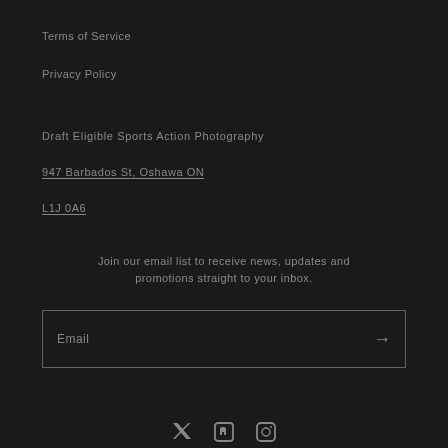Terms of Service
Privacy Policy
Draft Eligible Sports Action Photography
947 Barbados St, Oshawa ON
L1J 0A6
Join our email list to receive news, updates and promotions straight to your inbox.
Email
[Figure (other): Social media icons row: Twitter/X, Facebook, Instagram]